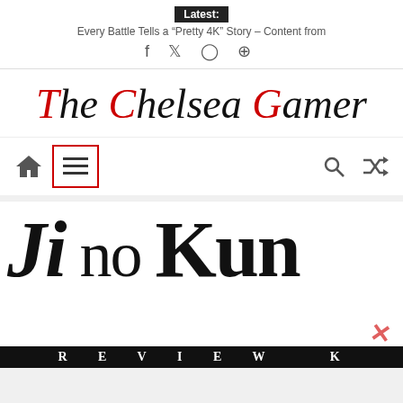Latest: Every Battle Tells a “Pretty 4K” Story – Content from
The Chelsea Gamer
[Figure (screenshot): Website navigation bar with home icon, hamburger menu button (outlined in red), search icon, and shuffle icon]
[Figure (screenshot): Large stylized text showing 'Ji no Kun' in bold serif font with partial book cover image at the bottom]